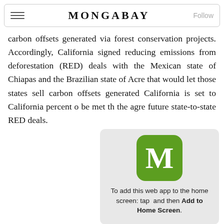MONGABAY
carbon offsets generated via forest conservation projects. Accordingly, California signed reducing emissions from deforestation (RED) deals with the Mexican state of Chiapas and the Brazilian state of Acre that would let those states sell carbon offsets generated California is set to California percent o be met th the agre future state-to-state RED deals.
[Figure (screenshot): Mobile popup dialog with green Mongabay app icon (letter M on green rounded square background) and text: To add this web app to the home screen: tap and then Add to Home Screen. An X close button appears in the upper right of the popup. A downward-pointing triangle points below the popup.]